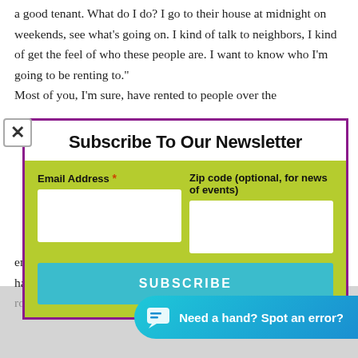a good tenant. What do I do? I go to their house at midnight on weekends, see what's going on. I kind of talk to neighbors, I kind of get the feel of who these people are. I want to know who I'm going to be renting to."
Most of you, I'm sure, have rented to people over the
[Figure (screenshot): Newsletter subscription modal popup with purple border, containing title 'Subscribe To Our Newsletter', a green background form area with Email Address and Zip code fields, and a teal SUBSCRIBE button. A close (X) button appears in the top-left corner of the modal.]
ended up losing everything anyway because he didn't have enough mon... unit you have, you... roof.go on the heating system.go on, you find it...
[Figure (screenshot): Blue chat widget button at the bottom right reading 'Need a hand? Spot an error?' with a chat icon.]